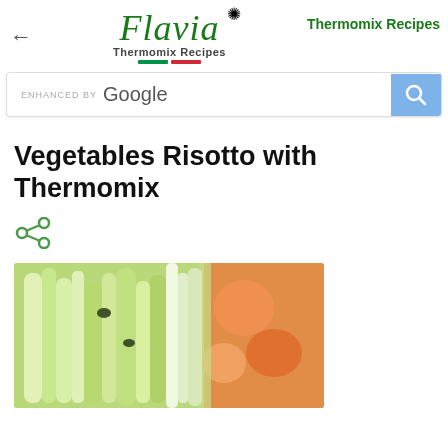[Figure (logo): Flavia Thermomix Recipes logo with decorative script font, flower icon, and Italian flag stripes]
Thermomix Recipes
[Figure (screenshot): Google search bar with 'ENHANCED BY Google' text and blue search button]
Vegetables Risotto with Thermomix
[Figure (illustration): Share icon (three connected circles)]
[Figure (photo): Close-up photo of fresh vegetables including green leeks/celery and orange/red tomatoes for risotto]